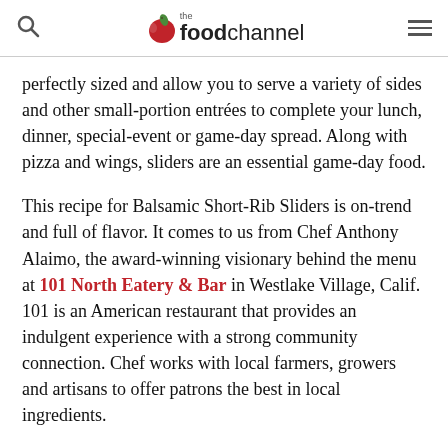the food channel
perfectly sized and allow you to serve a variety of sides and other small-portion entrées to complete your lunch, dinner, special-event or game-day spread. Along with pizza and wings, sliders are an essential game-day food.
This recipe for Balsamic Short-Rib Sliders is on-trend and full of flavor. It comes to us from Chef Anthony Alaimo, the award-winning visionary behind the menu at 101 North Eatery & Bar in Westlake Village, Calif. 101 is an American restaurant that provides an indulgent experience with a strong community connection. Chef works with local farmers, growers and artisans to offer patrons the best in local ingredients.